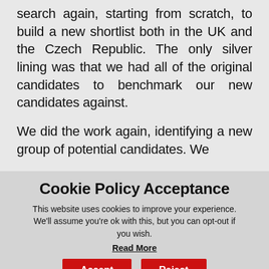search again, starting from scratch, to build a new shortlist both in the UK and the Czech Republic. The only silver lining was that we had all of the original candidates to benchmark our new candidates against.
We did the work again, identifying a new group of potential candidates. We
Cookie Policy Acceptance
This website uses cookies to improve your experience. We'll assume you're ok with this, but you can opt-out if you wish.
Read More
Accept
Reject